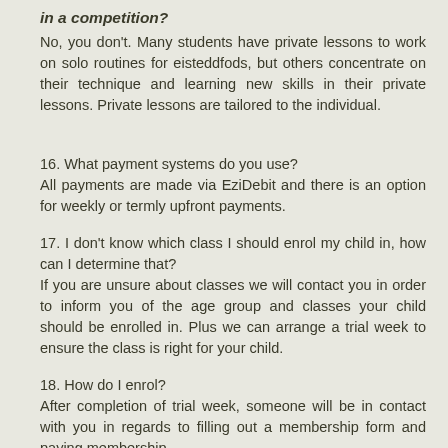in a competition?
No, you don't. Many students have private lessons to work on solo routines for eisteddfods, but others concentrate on their technique and learning new skills in their private lessons. Private lessons are tailored to the individual.
16. What payment systems do you use?
All payments are made via EziDebit and there is an option for weekly or termly upfront payments.
17. I don't know which class I should enrol my child in, how can I determine that?
If you are unsure about classes we will contact you in order to inform you of the age group and classes your child should be enrolled in. Plus we can arrange a trial week to ensure the class is right for your child.
18. How do I enrol?
After completion of trial week, someone will be in contact with you in regards to filling out a membership form and paying membership